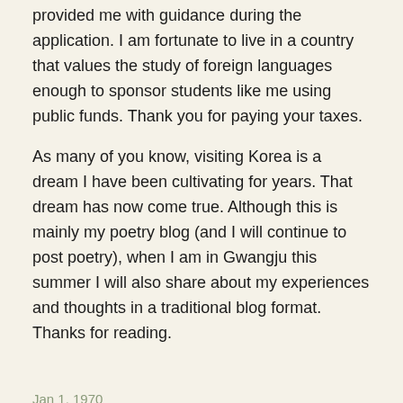provided me with guidance during the application. I am fortunate to live in a country that values the study of foreign languages enough to sponsor students like me using public funds. Thank you for paying your taxes.
As many of you know, visiting Korea is a dream I have been cultivating for years. That dream has now come true. Although this is mainly my poetry blog (and I will continue to post poetry), when I am in Gwangju this summer I will also share about my experiences and thoughts in a traditional blog format. Thanks for reading.
Jan 1, 1970
Older posts
“Where did the old blog go?” On June 25, 2022, I moved